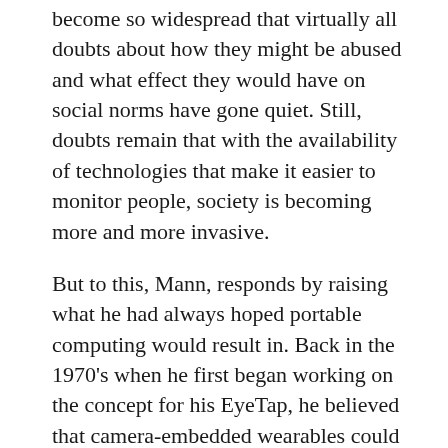become so widespread that virtually all doubts about how they might be abused and what effect they would have on social norms have gone quiet. Still, doubts remain that with the availability of technologies that make it easier to monitor people, society is becoming more and more invasive.
But to this, Mann, responds by raising what he had always hoped portable computing would result in. Back in the 1970's when he first began working on the concept for his EyeTap, he believed that camera-embedded wearables could be both liberating and empowering. In a world permeated by security cameras and a sensory-sphere dominated by corporate memes, he foresaw these devices a means for individuals to re-take control of their environment and protect themselves.